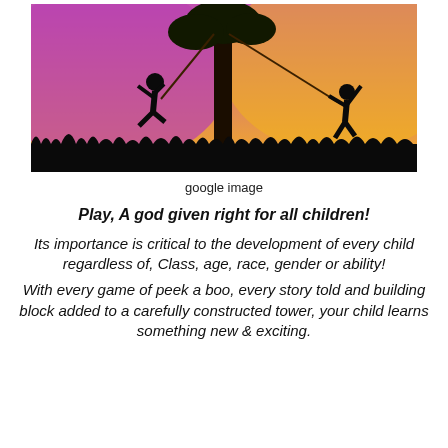[Figure (illustration): Silhouette of two children playing on a tree rope swing against a colorful purple and yellow/orange sunset background, with grass and tree silhouettes.]
google image
Play, A god given right for all children!
Its importance is critical to the development of every child regardless of, Class, age, race, gender or ability!
With every game of peek a boo, every story told and building block added to a carefully constructed tower, your child learns something new & exciting.